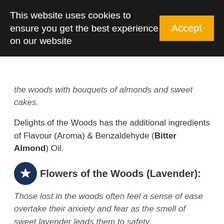This website uses cookies to ensure you get the best experience on our website  Accept
the woods with bouquets of almonds and sweet cakes.
Delights of the Woods has the additional ingredients of Flavour (Aroma) & Benzaldehyde (Bitter Almond) Oil.
Flowers of the Woods (Lavender):
Those lost in the woods often feel a sense of ease overtake their anxiety and fear as the smell of sweet lavender leads them to safety.
Flowers of the Woods has the additional ingredient of *Lavandula angustifolia (Lavender) Oil.